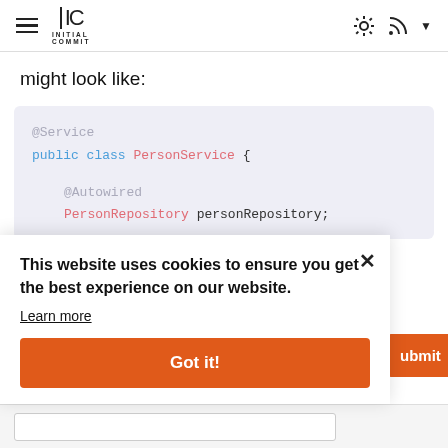Initial Commit — navigation header with hamburger menu, logo, sun icon, RSS icon, dropdown
might look like:
[Figure (screenshot): Java code snippet showing @Service annotation, public class PersonService { and @Autowired PersonRepository personRepository; in a light blue-grey code block]
This website uses cookies to ensure you get the best experience on our website. Learn more
Got it!